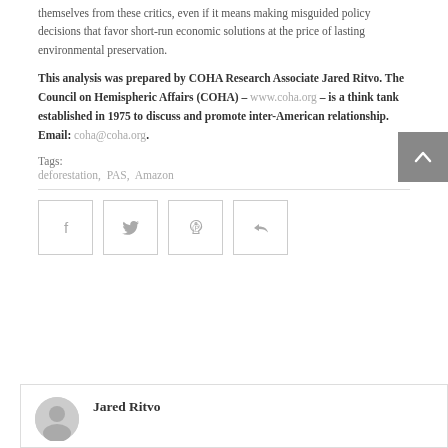themselves from these critics, even if it means making misguided policy decisions that favor short-run economic solutions at the price of lasting environmental preservation.
This analysis was prepared by COHA Research Associate Jared Ritvo. The Council on Hemispheric Affairs (COHA) – www.coha.org – is a think tank established in 1975 to discuss and promote inter-American relationship. Email: coha@coha.org.
Tags:
deforestation,  PAS,  Amazon
[Figure (infographic): Four social sharing buttons (Facebook, Twitter, Pinterest, Share) arranged horizontally, each in a square outlined box with a light gray icon.]
Jared Ritvo